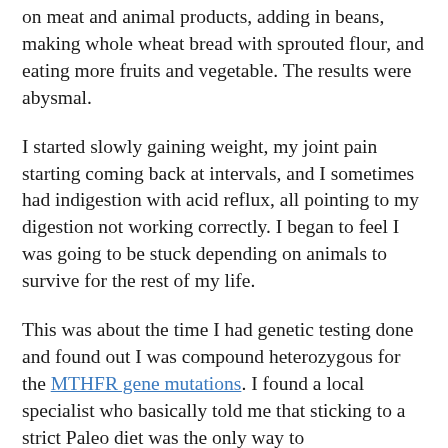on meat and animal products, adding in beans, making whole wheat bread with sprouted flour, and eating more fruits and vegetable. The results were abysmal.
I started slowly gaining weight, my joint pain starting coming back at intervals, and I sometimes had indigestion with acid reflux, all pointing to my digestion not working correctly. I began to feel I was going to be stuck depending on animals to survive for the rest of my life.
This was about the time I had genetic testing done and found out I was compound heterozygous for the MTHFR gene mutations. I found a local specialist who basically told me that sticking to a strict Paleo diet was the only way to